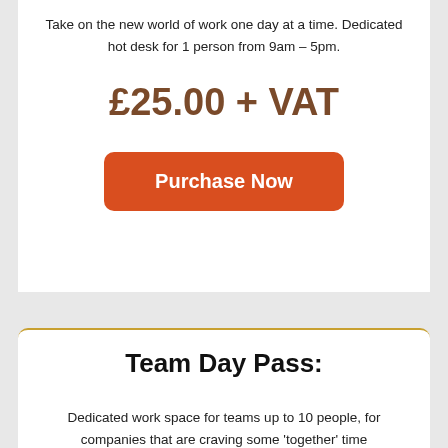Take on the new world of work one day at a time. Dedicated hot desk for 1 person from 9am – 5pm.
£25.00 + VAT
Purchase Now
Team Day Pass:
Dedicated work space for teams up to 10 people, for companies that are craving some 'together' time